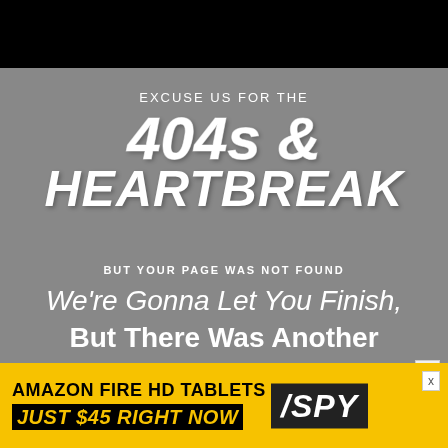[Figure (screenshot): Black top navigation bar]
EXCUSE US FOR THE 404s & HEARTBREAK
BUT YOUR PAGE WAS NOT FOUND
We're Gonna Let You Finish, But There Was Another
[Figure (screenshot): Amazon Fire HD Tablets advertisement banner — AMAZON FIRE HD TABLETS / SPY / JUST $45 RIGHT NOW]